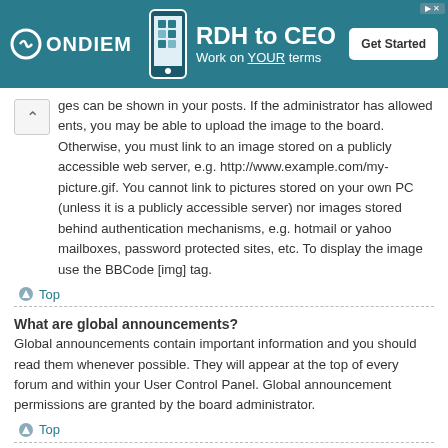[Figure (other): Advertisement banner for ONDIEM with 'RDH to CEO Work on YOUR terms' and 'Get Started' button]
ges can be shown in your posts. If the administrator has allowed ents, you may be able to upload the image to the board. Otherwise, you must link to an image stored on a publicly accessible web server, e.g. http://www.example.com/my-picture.gif. You cannot link to pictures stored on your own PC (unless it is a publicly accessible server) nor images stored behind authentication mechanisms, e.g. hotmail or yahoo mailboxes, password protected sites, etc. To display the image use the BBCode [img] tag.
Top
What are global announcements?
Global announcements contain important information and you should read them whenever possible. They will appear at the top of every forum and within your User Control Panel. Global announcement permissions are granted by the board administrator.
Top
What are announcements?
Announcements often contain important information for the forum you are currently reading and you should read them whenever possible. Announcements appear at the top of every page in the forum to which they are posted. As with global announcements, announcement permissions are granted by the board